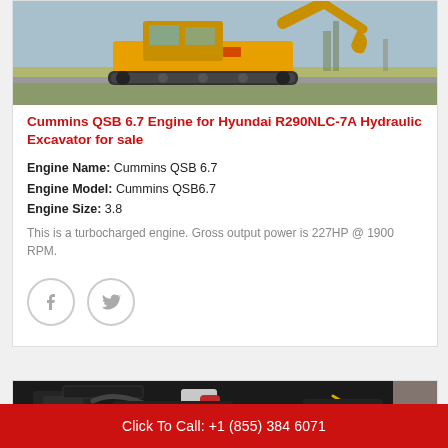[Figure (photo): Yellow hydraulic excavator (crawler type) on a flat surface outdoors, overcast sky, greenery in background.]
Cummins QSB 6.7 Engine for Hyundai R290NLC-7A Hydraulic Excavator for sale
Engine Name: Cummins QSB 6.7
Engine Model: Cummins QSB6.7
Engine Size: 3.8
This is a turbocharged engine. Gross output power is 227HP @ 1900 RPM.
[Figure (photo): Close-up of a Cummins diesel engine (black body) with red intake/turbo component and yellow wiring visible, sitting on a pallet with packaging material.]
Click To Call: +1 (855) 384 6071